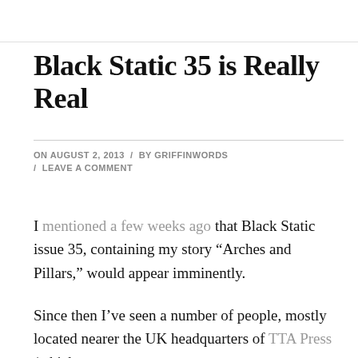Black Static 35 is Really Real
ON AUGUST 2, 2013 / BY GRIFFINWORDS / LEAVE A COMMENT
I mentioned a few weeks ago that Black Static issue 35, containing my story “Arches and Pillars,” would appear imminently.
Since then I’ve seen a number of people, mostly located nearer the UK headquarters of TTA Press (which